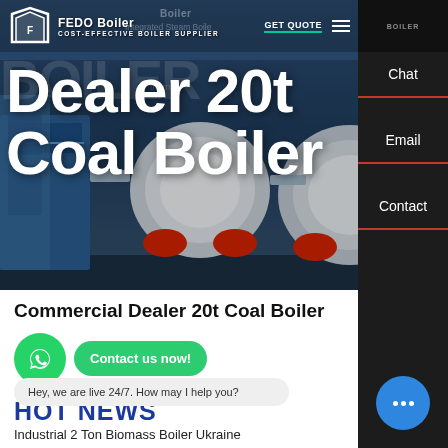[Figure (screenshot): Website header/hero section for a boiler supplier company (FEDO Boiler / Cost-Effective Boiler Supplier). Shows industrial boilers against a blue background with overlaid large white text title 'Dealer 20t Coal Boiler'. Navigation bar with logo, GET QUOTE button, and hamburger menu. Right sidebar with Chat, Email, Contact options.]
Dealer 20t Coal Boiler
Commercial Dealer 20t Coal Boiler
HOT NEWS
Hey, we are live 24/7. How may I help you?
Industrial 2 Ton Biomass Boiler Ukraine